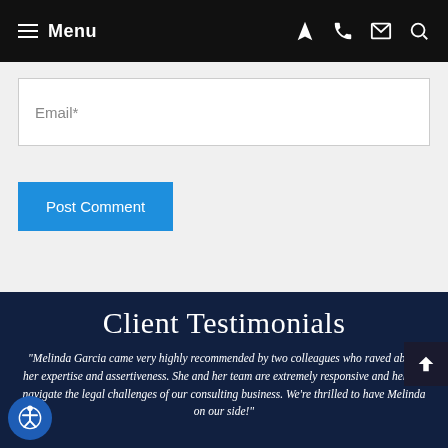Menu
Email*
Post Comment
Client Testimonials
"Melinda Garcia came very highly recommended by two colleagues who raved about her expertise and assertiveness. She and her team are extremely responsive and help us navigate the legal challenges of our consulting business. We're thrilled to have Melinda on our side!"